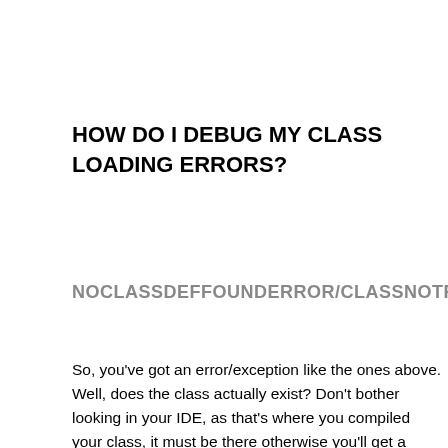HOW DO I DEBUG MY CLASS LOADING ERRORS?
NOCLASSDEFFOUNDERROR/CLASSNOTFOUNDEXCE
So, you've got an error/exception like the ones above. Well, does the class actually exist? Don't bother looking in your IDE, as that's where you compiled your class, it must be there otherwise you'll get a compile time exception. This is a runtime exception so it's in the runtime we want to look for the class which it says we're